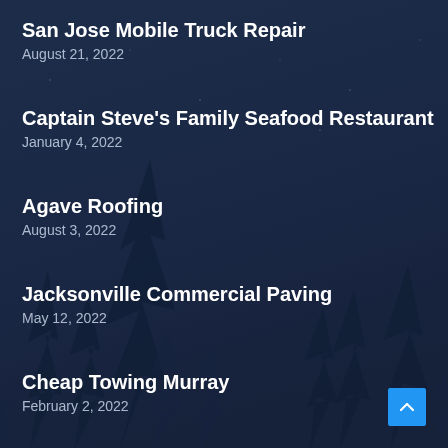San Jose Mobile Truck Repair
August 21, 2022
Captain Steve's Family Seafood Restaurant
January 4, 2022
Agave Roofing
August 3, 2022
Jacksonville Commercial Paving
May 12, 2022
Cheap Towing Murray
February 2, 2022